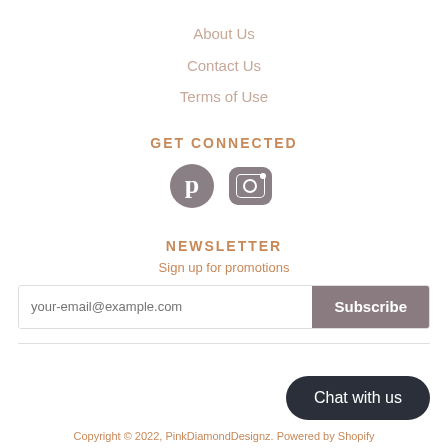About Us
Contact Us
Terms of Use
GET CONNECTED
[Figure (illustration): Pinterest and Instagram social media icons in grey]
NEWSLETTER
Sign up for promotions
your-email@example.com  [Subscribe button]
Chat with us
Copyright © 2022, PinkDiamondDesignz. Powered by Shopify